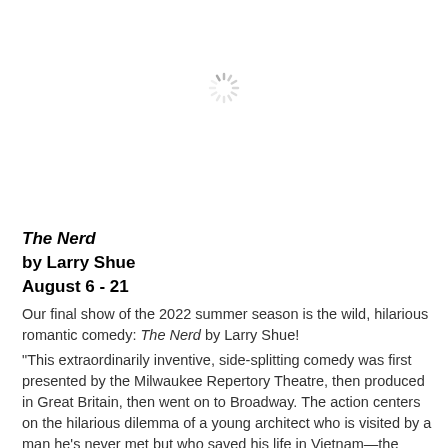[Figure (other): Loading spinner / animated wheel icon centered in upper half of page]
The Nerd
by Larry Shue
August 6 - 21
Our final show of the 2022 summer season is the wild, hilarious romantic comedy: The Nerd by Larry Shue!
"This extraordinarily inventive, side-splitting comedy was first presented by the Milwaukee Repertory Theatre, then produced in Great Britain, then went on to Broadway. The action centers on the hilarious dilemma of a young architect who is visited by a man he's never met but who saved his life in Vietnam—the visitor